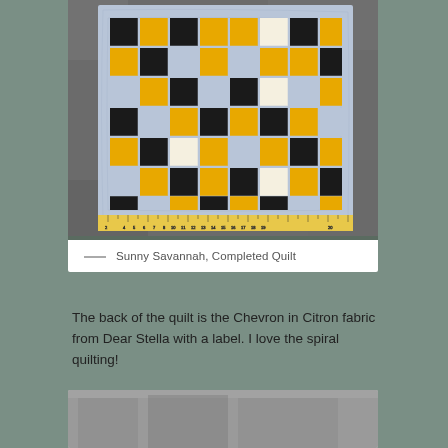[Figure (photo): A completed patchwork quilt called Sunny Savannah, featuring black, yellow/gold, white, and light blue fabric squares arranged in a pattern, laid flat on a granite surface with a measuring tape along the bottom edge.]
— Sunny Savannah, Completed Quilt
The back of the quilt is the Chevron in Citron fabric from Dear Stella with a label. I love the spiral quilting!
[Figure (photo): Partial view of another quilt photo, cropped at bottom of page.]